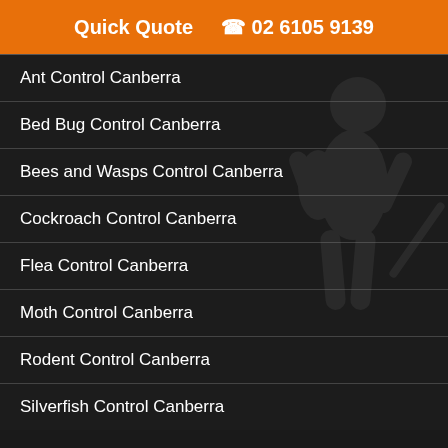Quick Quote  ☎ 02 6105 9139
Ant Control Canberra
Bed Bug Control Canberra
Bees and Wasps Control Canberra
Cockroach Control Canberra
Flea Control Canberra
Moth Control Canberra
Rodent Control Canberra
Silverfish Control Canberra